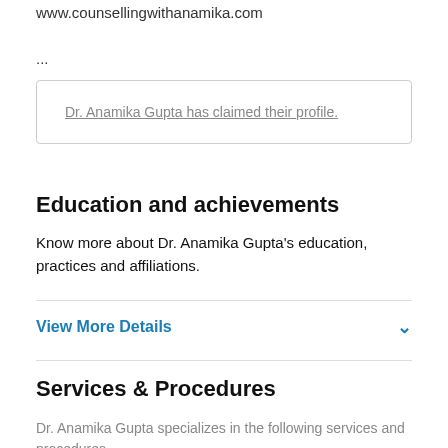www.counsellingwithanamika.com
...
Dr. Anamika Gupta has claimed their profile.
Education and achievements
Know more about Dr. Anamika Gupta's education, practices and affiliations.
View More Details
Services & Procedures
Dr. Anamika Gupta specializes in the following services and procedures.